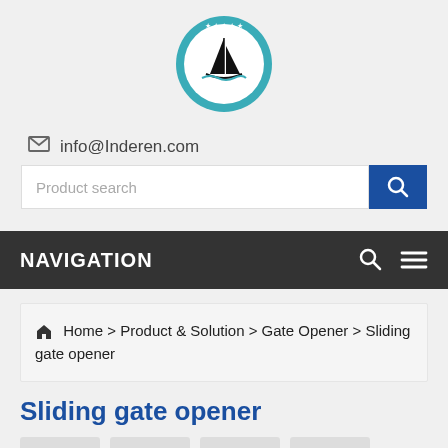[Figure (logo): Circular teal logo with a sailboat silhouette and stars around the top edge]
info@Inderen.com
Product search
NAVIGATION
Home > Product & Solution > Gate Opener > Sliding gate opener
Sliding gate opener